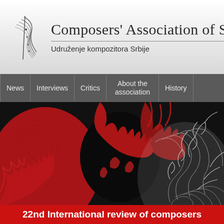Composers' Association of Serbia — Udruženje kompozitora Srbije
News | Interviews | Critics | About the association | History
[Figure (screenshot): Hero image with abstract red and white swirling organic forms on a black background, resembling explosive floral or fire-like patterns in red, white and black]
22nd International review of composers